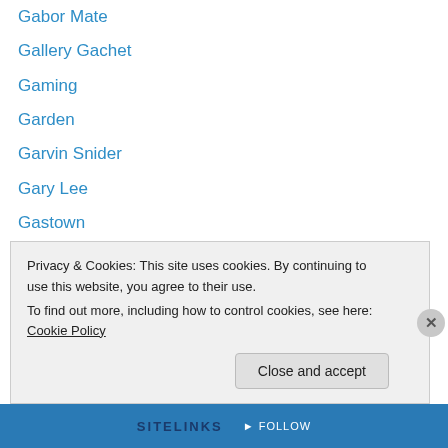Gabor Mate
Gallery Gachet
Gaming
Garden
Garvin Snider
Gary Lee
Gastown
Gathering Festival 2015
Gathering Place
Gavin Dew
Gentrification
Geoff Meggs
George Leach
Georgi St...
Privacy & Cookies: This site uses cookies. By continuing to use this website, you agree to their use.
To find out more, including how to control cookies, see here: Cookie Policy
Close and accept